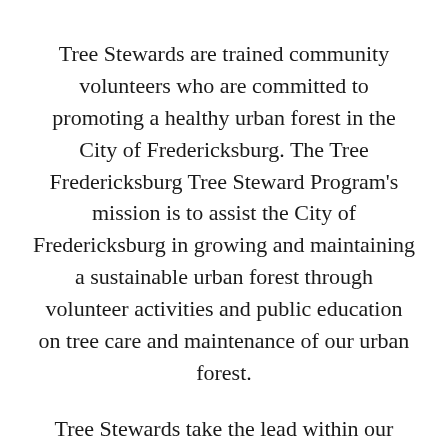Tree Stewards are trained community volunteers who are committed to promoting a healthy urban forest in the City of Fredericksburg. The Tree Fredericksburg Tree Steward Program's mission is to assist the City of Fredericksburg in growing and maintaining a sustainable urban forest through volunteer activities and public education on tree care and maintenance of our urban forest.
Tree Stewards take the lead within our community to enhance a sustainable urban forest through volunteer activities and